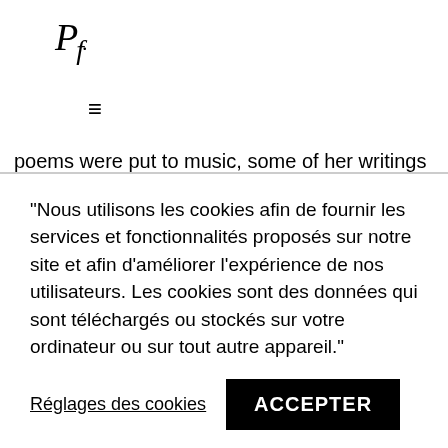Pf. ≡
poems were put to music, some of her writings were adapted for the theatre, others became films. Her paintings are rooted in the landscapes that she visited during her life, including her native Lebanon or her adoptive California. Her work is famous all over the world and is exhibited in the greatest museums in Europe and the United States, from the Museum of Modern Art of San Francisco to the Serpentine Gallery in London or the Institut du Monde Arabe in Paris, among others. She considers her paintings
"Nous utilisons les cookies afin de fournir les services et fonctionnalités proposés sur notre site et afin d'améliorer l'expérience de nos utilisateurs. Les cookies sont des données qui sont téléchargés ou stockés sur votre ordinateur ou sur tout autre appareil."
Réglages des cookies  ACCEPTER